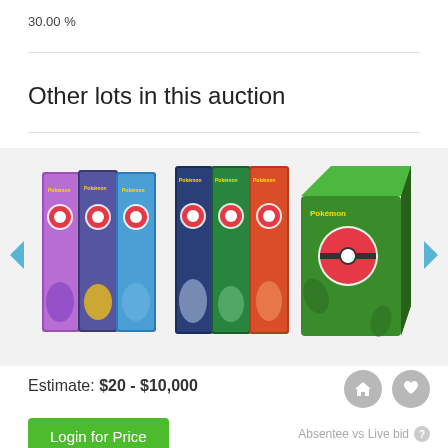30.00 %
Other lots in this auction
[Figure (photo): Three Pokemon booster pack bundles displayed in a carousel: first group shows colorful Pokemon booster packs, second group shows similar blue/green/red packs, third shows a green Pokemon booster box.]
Estimate:  $20 - $10,000
Login for Price
Absentee vs Live bid ?